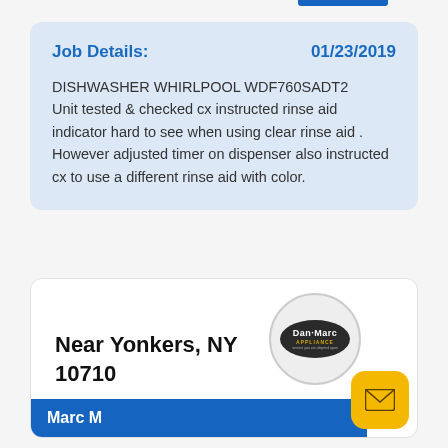Job Details: 01/23/2019
DISHWASHER WHIRLPOOL WDF760SADT2 Unit tested & checked cx instructed rinse aid indicator hard to see when using clear rinse aid . However adjusted timer on dispenser also instructed cx to use a different rinse aid with color.
Near Yonkers, NY 10710
[Figure (logo): Dan-Marc Appliance logo — black oval with white text 'Dan-Marc' and gold 'APPLIANCE' text]
Marc M